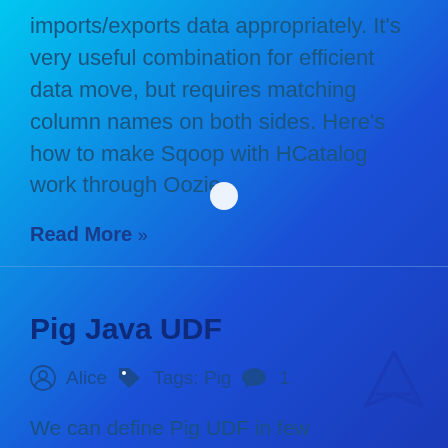imports/exports data appropriately. It's very useful combination for efficient data move, but requires matching column names on both sides. Here's how to make Sqoop with HCatalog work through Oozie.
Read More »
Pig Java UDF
Alice  Tags: Pig  1
We can define Pig UDF in few languages: Java, Jython, JavaScript, Ruby, Groovy and